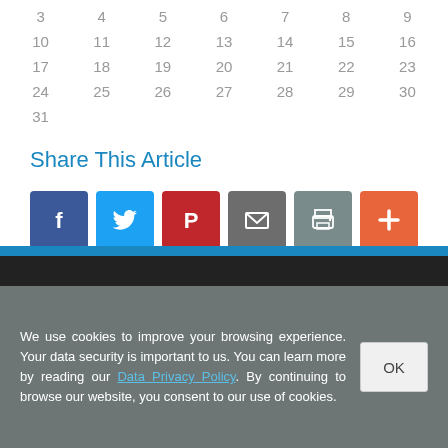| 3 | 4 | 5 | 6 | 7 | 8 | 9 |
| 10 | 11 | 12 | 13 | 14 | 15 | 16 |
| 17 | 18 | 19 | 20 | 21 | 22 | 23 |
| 24 | 25 | 26 | 27 | 28 | 29 | 30 |
| 31 |  |  |  |  |  |  |
Share This Article
[Figure (infographic): Social share buttons: Facebook, Twitter, Pinterest, Email, Print, More]
We use cookies to improve your browsing experience. Your data security is important to us. You can learn more by reading our Data Privacy Policy. By continuing to browse our website, you consent to our use of cookies.